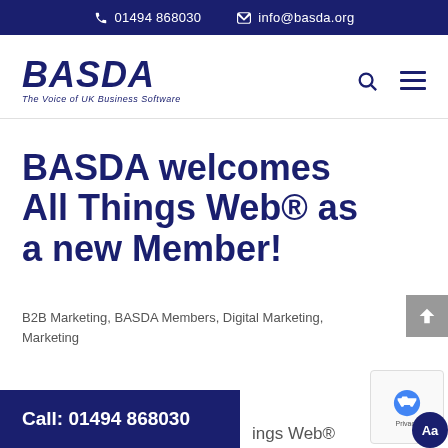📞 01494 868030  ✉ info@basda.org
[Figure (logo): BASDA logo - The Voice of UK Business Software]
BASDA welcomes All Things Web® as a new Member!
B2B Marketing, BASDA Members, Digital Marketing, Marketing
Call: 01494 868030
ings Web®